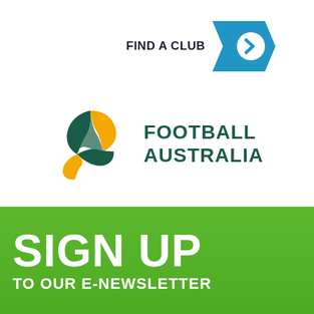FIND A CLUB
[Figure (logo): Football Australia logo with stylized football made of green and orange/yellow curved shapes, and FOOTBALL AUSTRALIA text in dark green]
SIGN UP
TO OUR E-NEWSLETTER